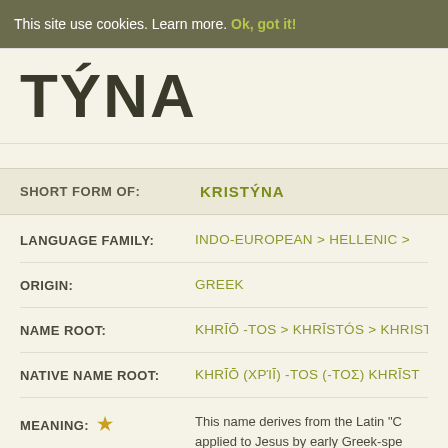This site use cookies. Learn more. Ok, got it!
TÝNA
SHORT FORM OF: KRISTÝNA
LANGUAGE FAMILY: INDO-EUROPEAN > HELLENIC > ...
ORIGIN: GREEK
NAME ROOT: KHRĪŌ -TOS > KHRĪSTÓS > KHRIST...
NATIVE NAME ROOT: KHRĪŌ (ΧΡΊ Ω) -TOS (-ΤΟΣ) KHRĪST...
MEANING: ★ This name derives from the Latin "C... applied to Jesus by early Greek-spe... (χρίω) -tos (-τος) khrīstós (χρīστóς... rubbed on, used as ointment or salv... (Arabic: al-Masīḥ), which also means...